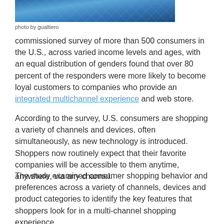[Figure (photo): Blue architectural grid/lattice structure photo strip at top of page]
photo by gualtiero
commissioned survey of more than 500 consumers in the U.S., across varied income levels and ages, with an equal distribution of genders found that over 80 percent of the responders were more likely to become loyal customers to companies who provide an integrated multichannel experience and web store.
According to the survey, U.S. consumers are shopping a variety of channels and devices, often simultaneously, as new technology is introduced. Shoppers now routinely expect that their favorite companies will be accessible to them anytime, anywhere, via any channel.
The study examined consumer shopping behavior and preferences across a variety of channels, devices and product categories to identify the key features that shoppers look for in a multi-channel shopping experience.